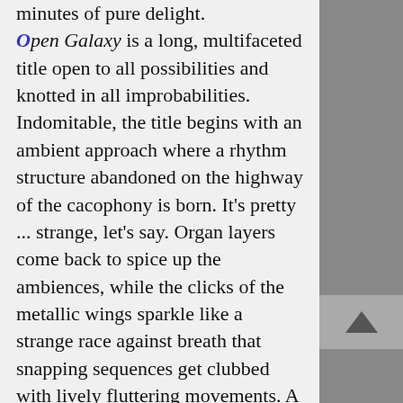minutes of pure delight. Open Galaxy is a long, multifaceted title open to all possibilities and knotted in all improbabilities. Indomitable, the title begins with an ambient approach where a rhythm structure abandoned on the highway of the cacophony is born. It's pretty ... strange, let's say. Organ layers come back to spice up the ambiences, while the clicks of the metallic wings sparkle like a strange race against breath that snapping sequences get clubbed with lively fluttering movements. A line of sequences makes its keys leap on a jerky gyratory movement which is always enveloped in the bed of